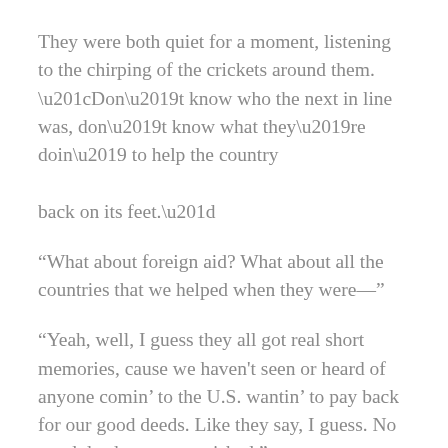They were both quiet for a moment, listening to the chirping of the crickets around them. “Don’t know who the next in line was, don’t know what they’re doin’ to help the country back on its feet.”
“What about foreign aid? What about all the countries that we helped when they were—”
“Yeah, well, I guess they all got real short memories, cause we haven't seen or heard of anyone comin’ to the U.S. wantin’ to pay back for our good deeds. Like they say, I guess. No good deed goes unpunished.”
“Is everything gone? Internet, phone reception?”